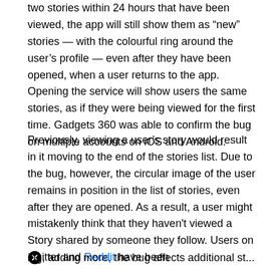two stories within 24 hours that have been viewed, the app will still show them as “new” stories — with the colourful ring around the user’s profile — even after they have been opened, when a user returns to the app. Opening the service will show users the same stories, as if they were being viewed for the first time. Gadgets 360 was able to confirm the bug on multiple accounts on iOS and Android.
Previously, viewing a user’s story would result in it moving to the end of the stories list. Due to the bug, however, the circular image of the user remains in position in the list of stories, even after they are opened. As a result, a user might mistakenly think that they haven't viewed a Story shared by someone they follow. Users on Twitter and Reddit have been
ing, adding more, the bug affects additional st...